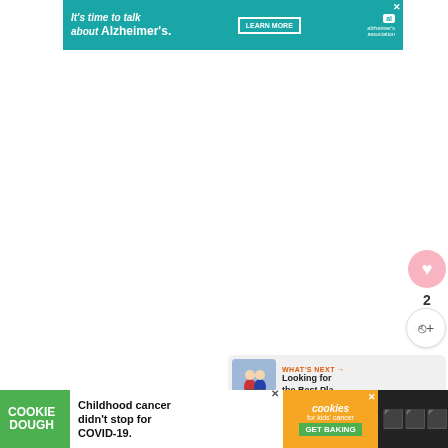[Figure (other): Alzheimer's Association advertisement banner with teal background. Text: 'It’s time to talk about Alzheimer’s.' with 'LEARN MORE' button and Alzheimer's Association logo with close button.]
[Figure (other): Social media like button (heart icon) with pink/salmon background circle.]
2
[Figure (other): Share button icon, circular white button with share symbol.]
[Figure (other): WHAT'S NEXT → 'Looking for the Best Pla...' with thumbnail image of two people on bicycles in snow.]
The average house price for the area is just
[Figure (other): Cookie Dough advertisement banner at bottom. Left section green with 'COOKIE DOUGH' text. Middle white section: 'Childhood cancer didn’t stop for COVID-19.' Right orange section with 'cookies for kids’ cancer' logo and 'GET BAKING' button.]